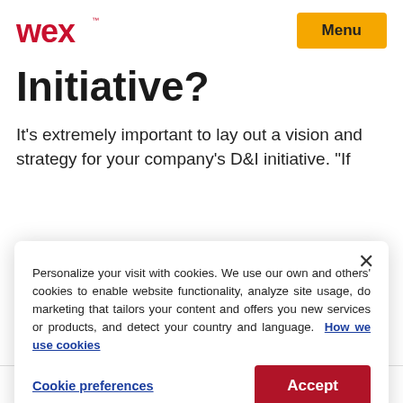WEX | Menu
Initiative?
It’s extremely important to lay out a vision and strategy for your company’s D&I initiative. “If
Personalize your visit with cookies. We use our own and others’ cookies to enable website functionality, analyze site usage, do marketing that tailors your content and offers you new services or products, and detect your country and language. How we use cookies
Cookie preferences | Accept
need to communicate your plan to others. It